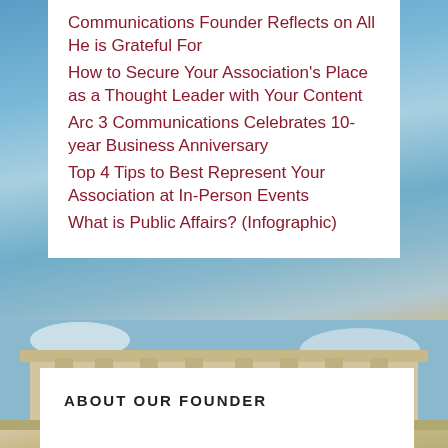Communications Founder Reflects on All He is Grateful For
How to Secure Your Association's Place as a Thought Leader with Your Content
Arc 3 Communications Celebrates 10-year Business Anniversary
Top 4 Tips to Best Represent Your Association at In-Person Events
What is Public Affairs? (Infographic)
[Figure (photo): Classical government or civic building facade with columns and windows against a partly cloudy blue sky]
ABOUT OUR FOUNDER